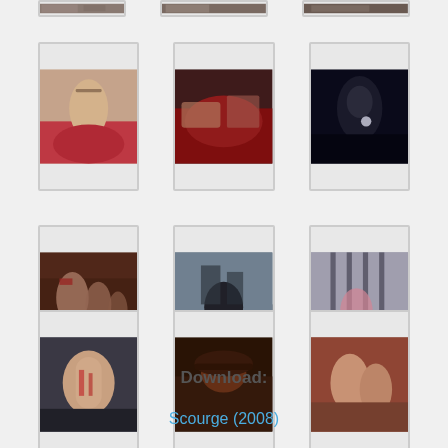[Figure (photo): Row of 3 movie still thumbnails at top (partially cropped)]
[Figure (photo): Row of 3 movie still thumbnails - row 2]
[Figure (photo): Row of 3 movie still thumbnails - row 3]
[Figure (photo): Row of 3 movie still thumbnails - row 4]
Download:
Scourge (2008)